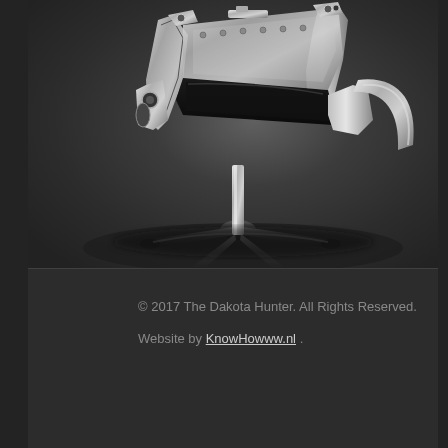[Figure (photo): A polished chrome and black mechanical chair — appearing to be constructed from aircraft engine parts — photographed against a dark grey background. The chair has a black leather seat cushion on top, chrome mechanical components forming the back and sides, and a black five-star base with chrome center column.]
© 2017 The Dakota Hunter. All Rights Reserved.
Website by KnowHowww.nl .